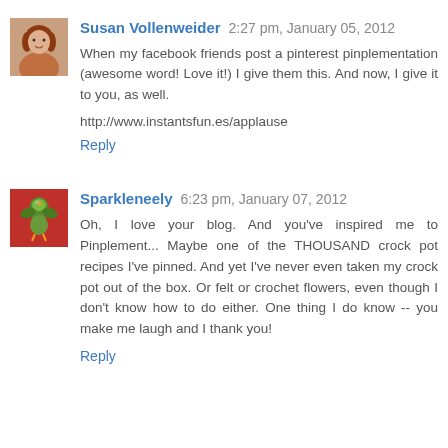Susan Vollenweider  2:27 pm, January 05, 2012
When my facebook friends post a pinterest pinplementation (awesome word! Love it!) I give them this. And now, I give it to you, as well.
http://www.instantsfun.es/applause
Reply
Sparkleneely  6:23 pm, January 07, 2012
Oh, I love your blog. And you've inspired me to Pinplement... Maybe one of the THOUSAND crock pot recipes I've pinned. And yet I've never even taken my crock pot out of the box. Or felt or crochet flowers, even though I don't know how to do either. One thing I do know -- you make me laugh and I thank you!
Reply